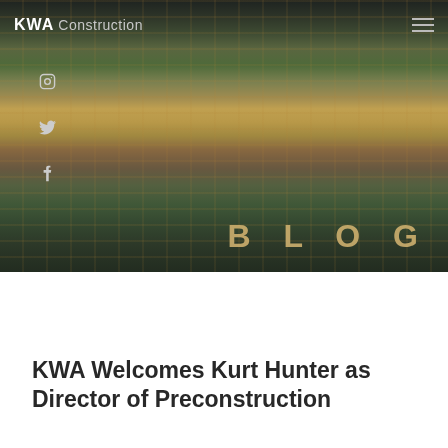[Figure (photo): Aerial view of a multi-story building under construction showing wooden framing and green-paneled exterior walls]
KWA Construction
KWA Welcomes Kurt Hunter as Director of Preconstruction